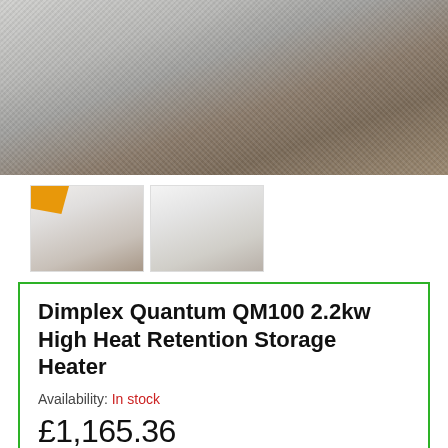[Figure (photo): Main product photo: grey shag rug on wooden floor with furniture in background]
[Figure (photo): Two thumbnail images of a white storage heater against a room background]
Dimplex Quantum QM100 2.2kw High Heat Retention Storage Heater
Availability: In stock
£1,165.36
Product Code: QM100
Brand: Dimplex
Stylish, compact design for unobtrusive heating
Adapts to the your requirements to save energy
Up to 27% cheaper to run than a standard storage heater system*